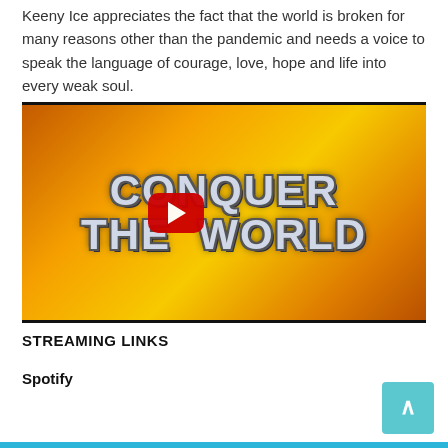Keeny Ice appreciates the fact that the world is broken for many reasons other than the pandemic and needs a voice to speak the language of courage, love, hope and life into every weak soul.
[Figure (screenshot): YouTube video thumbnail for 'Conquer the World' by Keeny Ice. Orange and gold fiery background with large stylized text reading 'CONQUER THE WORLD' and a red YouTube play button in the center.]
STREAMING LINKS
Spotify